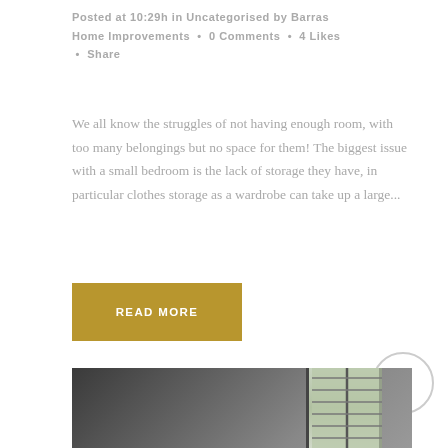Posted at 10:29h in Uncategorised by Barras Home Improvements • 0 Comments • 4 Likes • Share
We all know the struggles of not having enough room, with too many belongings but no space for them! The biggest issue with a small bedroom is the lack of storage they have, in particular clothes storage as a wardrobe can take up a large...
READ MORE
[Figure (photo): Interior photo of a room showing a window with horizontal blinds and dark wall panels or tiles visible in the lower left]